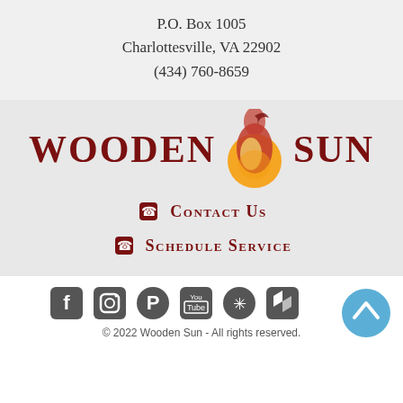P.O. Box 1005
Charlottesville, VA 22902
(434) 760-8659
[Figure (logo): Wooden Sun logo with flame graphic between the words WOODEN and SUN in dark red serif font]
Contact Us
Schedule Service
[Figure (illustration): Social media icons: Facebook, Instagram, Pinterest, YouTube, Yelp, Houzz, and a blue scroll-to-top button]
© 2022 Wooden Sun - All rights reserved.